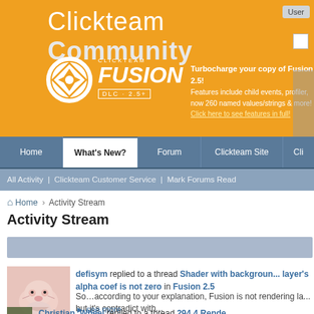[Figure (screenshot): Clickteam Community website header banner with orange background showing Clickteam Fusion 2.5 DLC logo and promotional text]
Clickteam Community — navigation bar with Home, What's New?, Forum, Clickteam Site, Cli...
All Activity | Customer Service | Mark Forums Read
Home › Activity Stream
Activity Stream
defisym replied to a thread Shader with background layer's alpha coef is not zero in Fusion 2.5
So…according to your explanation, Fusion is not rendering la... but it's contradict with...
▶ see more
4 replies | 141 view(s)
Christian_Wheel replied to a thread 294.4 Rende...